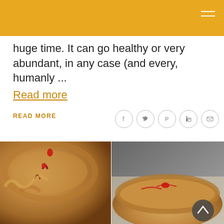[Figure (other): Golden/amber navigation header bar with hamburger menu icon (three white lines) in top right]
huge time. It can go healthy or very abundant, in any case (and every, humanly ...
Read more
READ MORE
[Figure (other): Social sharing icons in circles: Facebook (f), Twitter bird, Pinterest (P), LinkedIn (in), Email envelope]
[Figure (photo): Close-up of a baked cherry pie with golden brown pastry crust, showing filling oozing through slits]
[Figure (photo): Another cherry pie with lattice-style crust from a slightly different angle, with dark blurred background]